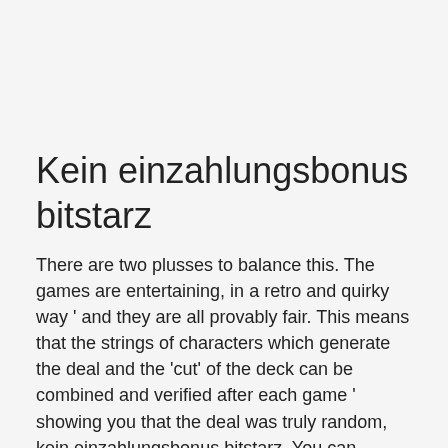Kein einzahlungsbonus bitstarz
There are two plusses to balance this. The games are entertaining, in a retro and quirky way ' and they are all provably fair. This means that the strings of characters which generate the deal and the 'cut' of the deck can be combined and verified after each game ' showing you that the deal was truly random, kein einzahlungsbonus bitstarz. You can understand then why online casino will ask for a small deposit, kein einzahlungsbonus bitstarz. It is natural to have a lot of questions, kein